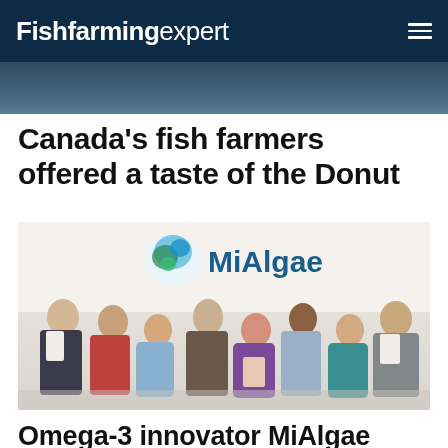Fishfarming expert
Canada's fish farmers offered a taste of the Donut
[Figure (photo): Group photo of MiAlgae team members (8 people) standing in front of a MiAlgae branded sign with a globe logo]
Omega-3 innovator MiAlgae raises £2.3m for expansion